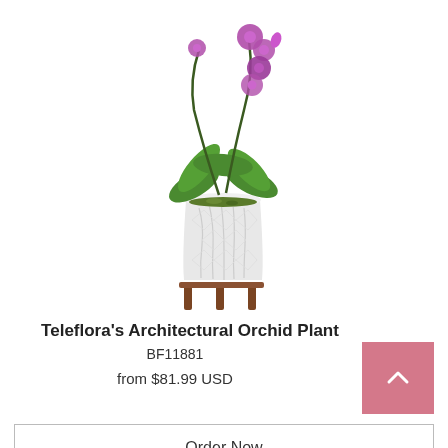[Figure (photo): Orchid plant in white geometric ceramic pot on wooden stand, with purple orchid blooms on tall stem and large green leaves]
Teleflora's Architectural Orchid Plant
BF11881
from $81.99 USD
Order Now